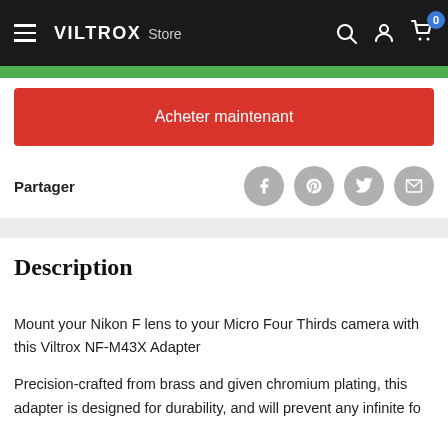VILTROX Store
Acheter maintenant
Partager
Description
Mount your Nikon F lens to your Micro Four Thirds camera with this Viltrox NF-M43X Adapter
Precision-crafted from brass and given chromium plating, this adapter is designed for durability, and will prevent any infinite focus...